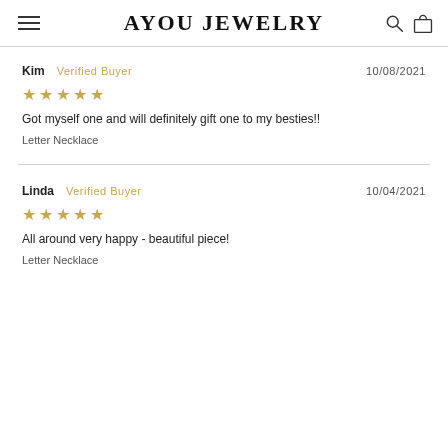AYOU JEWELRY
Kim  Verified Buyer  10/08/2021
★★★★★
Got myself one and will definitely gift one to my besties!!
Letter Necklace
Linda  Verified Buyer  10/04/2021
★★★★★
All around very happy - beautiful piece!
Letter Necklace